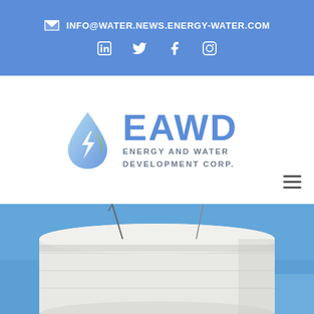INFO@WATER.NEWS.ENERGY-WATER.COM
[Figure (logo): EAWD Energy and Water Development Corp. logo with water droplet and lightning bolt icon]
[Figure (photo): Water tower photographed from below against a clear blue sky]